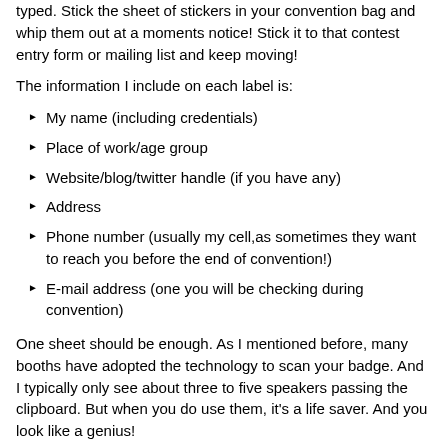typed. Stick the sheet of stickers in your convention bag and whip them out at a moments notice! Stick it to that contest entry form or mailing list and keep moving!
The information I include on each label is:
My name (including credentials)
Place of work/age group
Website/blog/twitter handle (if you have any)
Address
Phone number (usually my cell,as sometimes they want to reach you before the end of convention!)
E-mail address (one you will be checking during convention)
One sheet should be enough. As I mentioned before, many booths have adopted the technology to scan your badge. And I typically only see about three to five speakers passing the clipboard. But when you do use them, it's a life saver. And you look like a genius!